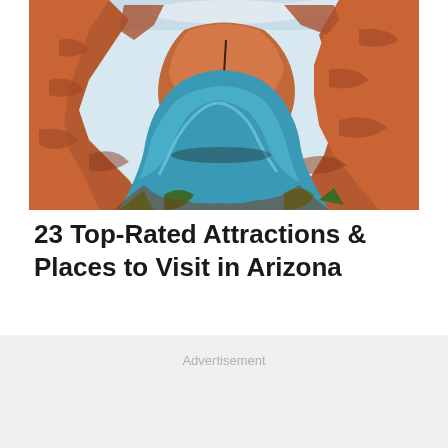[Figure (photo): Aerial view of Horseshoe Bend, Arizona — a red sandstone canyon with a turquoise river forming a dramatic horseshoe curve]
23 Top-Rated Attractions & Places to Visit in Arizona
Advertisement